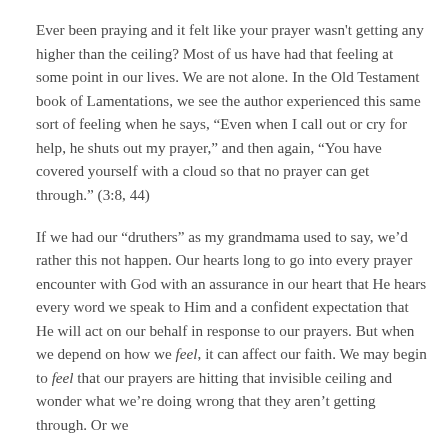Ever been praying and it felt like your prayer wasn't getting any higher than the ceiling? Most of us have had that feeling at some point in our lives. We are not alone. In the Old Testament book of Lamentations, we see the author experienced this same sort of feeling when he says, “Even when I call out or cry for help, he shuts out my prayer,” and then again, “You have covered yourself with a cloud so that no prayer can get through.” (3:8, 44)
If we had our “druthers” as my grandmama used to say, we’d rather this not happen. Our hearts long to go into every prayer encounter with God with an assurance in our heart that He hears every word we speak to Him and a confident expectation that He will act on our behalf in response to our prayers. But when we depend on how we feel, it can affect our faith. We may begin to feel that our prayers are hitting that invisible ceiling and wonder what we’re doing wrong that they aren’t getting through. Or we